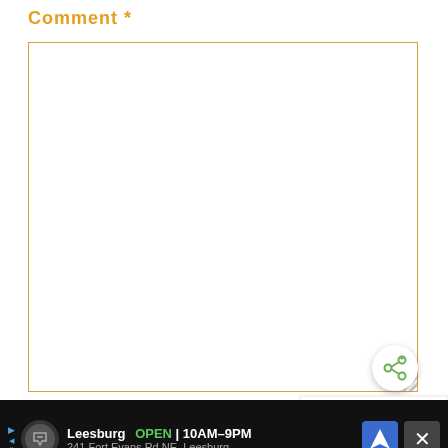Comment *
[Figure (screenshot): Empty comment text area input box with orange border]
[Figure (infographic): Share button (circular white button with green share icon)]
[Figure (infographic): What's Next promo banner showing Air Fryer Hard Boiled Eggs with a food photo thumbnail]
[Figure (screenshot): Second input box partially visible]
[Figure (infographic): Advertisement bar: Leesburg OPEN 10AM-9PM, 241 Fort Evans Rd NE, Leesburg with navigation icon and close button]